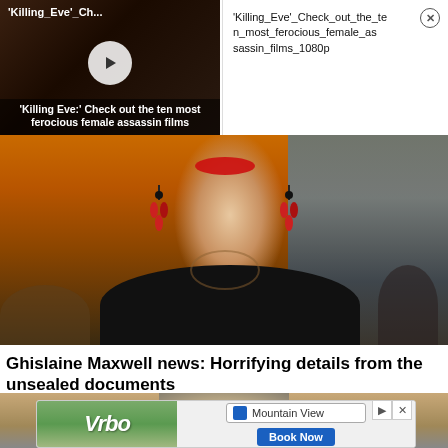[Figure (screenshot): Video thumbnail showing 'Killing Eve' Check out the ten most ferocious female assassin films, with play button overlay]
'Killing_Eve'_Check_out_the_ten_most_ferocious_female_assassin_films_1080p
[Figure (photo): Close-up photo of a woman with red lips, red earrings, black dress and necklace]
Ghislaine Maxwell news: Horrifying details from the unsealed documents
Film Daily
[Figure (photo): Partial photo of interior scene, bottom portion]
[Figure (screenshot): Vrbo advertisement banner with Mountain View search and Book Now button]